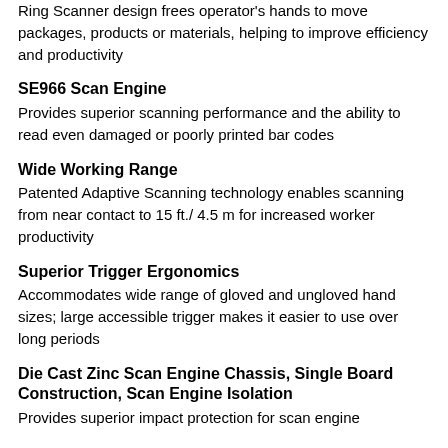Ring Scanner design frees operator's hands to move packages, products or materials, helping to improve efficiency and productivity
SE966 Scan Engine
Provides superior scanning performance and the ability to read even damaged or poorly printed bar codes
Wide Working Range
Patented Adaptive Scanning technology enables scanning from near contact to 15 ft./ 4.5 m for increased worker productivity
Superior Trigger Ergonomics
Accommodates wide range of gloved and ungloved hand sizes; large accessible trigger makes it easier to use over long periods
Die Cast Zinc Scan Engine Chassis, Single Board Construction, Scan Engine Isolation
Provides superior impact protection for scan engine